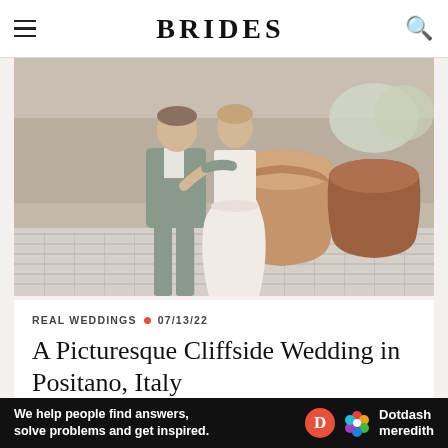BRIDES
[Figure (photo): Wedding couple embracing outdoors — groom in light grey suit, bride in white lace mermaid gown, with large terracotta pots and stone wall behind them, decorative tile floor.]
REAL WEDDINGS • 07/13/22
A Picturesque Cliffside Wedding in Positano, Italy
[Figure (screenshot): Blue header portion of another image or advertisement below the article card]
Ad
We help people find answers, solve problems and get inspired. Dotdash meredith